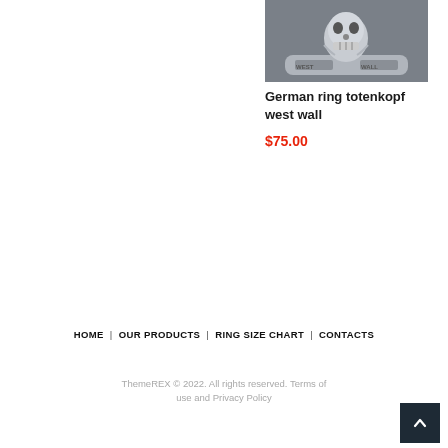[Figure (photo): Silver skull ring with 'WEST WALL' engraved on the band, photographed on a dark textured background.]
German ring totenkopf west wall
$75.00
HOME | OUR PRODUCTS | RING SIZE CHART | CONTACTS
ThemeREX © 2022. All rights reserved. Terms of use and Privacy Policy